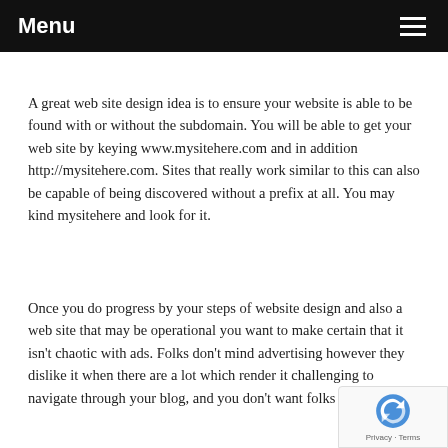Menu
A great web site design idea is to ensure your website is able to be found with or without the subdomain. You will be able to get your web site by keying www.mysitehere.com and in addition http://mysitehere.com. Sites that really work similar to this can also be capable of being discovered without a prefix at all. You may kind mysitehere and look for it.
Once you do progress by your steps of website design and also a web site that may be operational you want to make certain that it isn't chaotic with ads. Folks don't mind advertising however they dislike it when there are a lot which render it challenging to navigate through your blog, and you don't want folks mad.